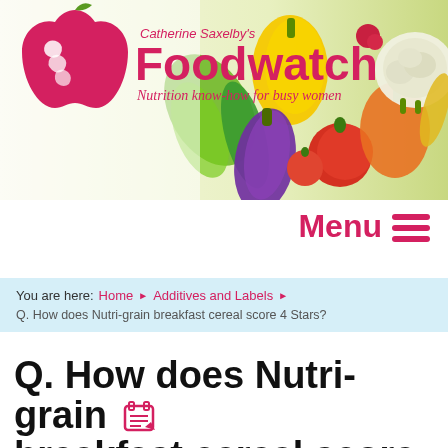[Figure (photo): Header banner with Catherine Saxelby's Foodwatch logo (red apple icon with white swirl, red bold text 'Foodwatch', italic tagline 'Nutrition know-how for busy women') on the left, and a colorful vegetable photo (eggplant, tomatoes, peppers, cauliflower, cucumber, herbs) on the right against a light green background.]
Menu ☰
You are here:  Home  ▶  Additives and Labels  ▶
Q. How does Nutri-grain breakfast cereal score 4 Stars?
Q. How does Nutri-grain breakfast cereal score 4